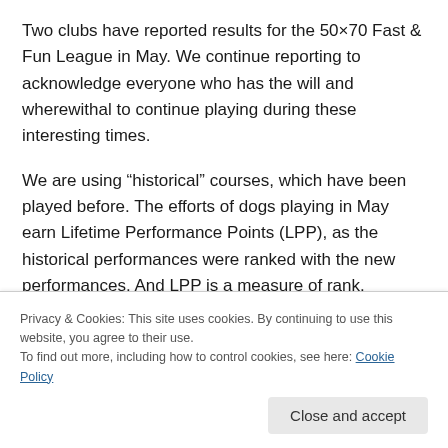Two clubs have reported results for the 50×70 Fast & Fun League in May. We continue reporting to acknowledge everyone who has the will and wherewithal to continue playing during these interesting times.
We are using “historical” courses, which have been played before. The efforts of dogs playing in May earn Lifetime Performance Points (LPP), as the historical performances were ranked with the new performances. And LPP is a measure of rank.
Privacy & Cookies: This site uses cookies. By continuing to use this website, you agree to their use.
To find out more, including how to control cookies, see here: Cookie Policy